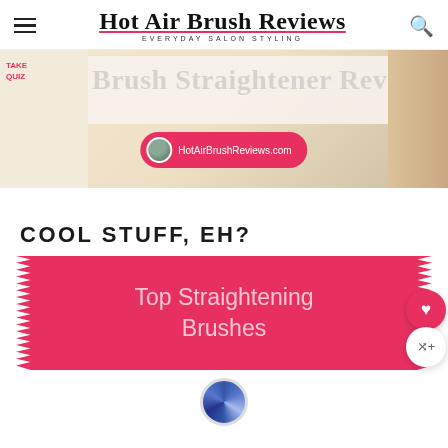Hot Air Brush Reviews — EVERYDAY SALON STYLING
[Figure (photo): Hero banner image showing a brush straightener review with text overlay 'Brush Straightener Review' in cursive, a pink pill badge showing HotAirBrushReviews.com with avatar, and a note card on the left]
COOL STUFF, EH?
[Figure (infographic): Pink zigzag-edged banner with text 'Top Straightening Brushes' in light pink on hot pink background, with a heart button and share button on the right side]
[Figure (photo): Partial view of a round hair brush at the bottom of the page]